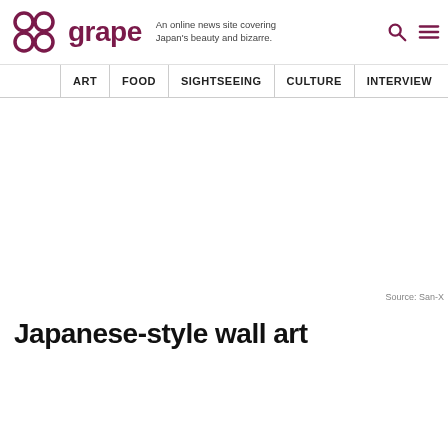grape — An online news site covering Japan's beauty and bizarre.
ART  FOOD  SIGHTSEEING  CULTURE  INTERVIEW
[Figure (photo): Image placeholder area with source attribution 'Source: San-X' at bottom right]
Source: San-X
Japanese-style wall art